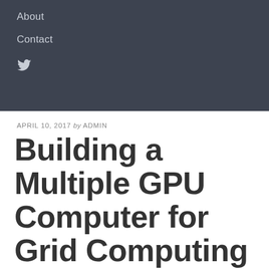About
Contact
APRIL 10, 2017 by ADMIN
Building a Multiple GPU Computer for Grid Computing
MACHINE LEARNING